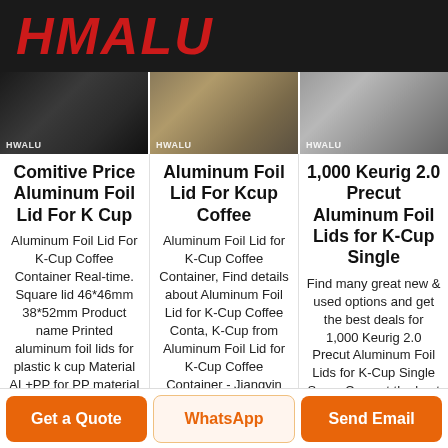[Figure (logo): HMALU logo in red bold italic text on black background]
[Figure (photo): Three product images side by side with HWALU watermark — embossed aluminum foil, stacked aluminum sheets on pallet, flat aluminum sheets]
Comitive Price Aluminum Foil Lid For K Cup
Aluminum Foil Lid For K-Cup Coffee Container Real-time. Square lid 46*46mm 38*52mm Product name Printed aluminum foil lids for plastic k cup Material AL+PP for PP material
Aluminum Foil Lid For Kcup Coffee
Aluminum Foil Lid for K-Cup Coffee Container, Find details about Aluminum Foil Lid for K-Cup Coffee Conta, K-Cup from Aluminum Foil Lid for K-Cup Coffee Container - Jiangyin
1,000 Keurig 2.0 Precut Aluminum Foil Lids for K-Cup Single
Find many great new & used options and get the best deals for 1,000 Keurig 2.0 Precut Aluminum Foil Lids for K-Cup Single Serve Cups at the best online
Get a Quote
WhatsApp
Send Email